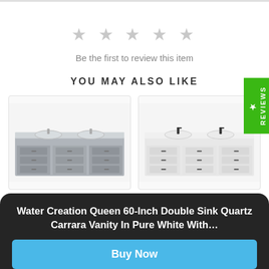[Figure (other): Five empty gray star rating icons indicating no reviews yet]
Be the first to review this item
YOU MAY ALSO LIKE
[Figure (photo): Gray double-sink bathroom vanity with two sinks, quartz top and multiple drawers]
[Figure (photo): White double-sink bathroom vanity with black faucets and drawers]
Water Creation Queen 60-Inch Double Sink Quartz Carrara Vanity In Pure White With…
Buy Now